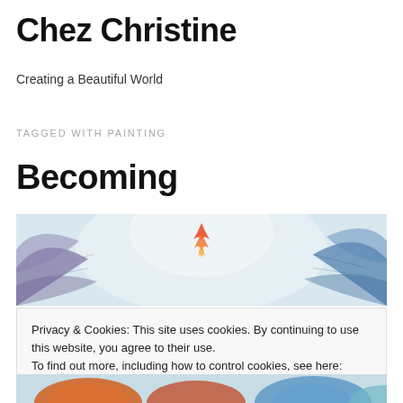Chez Christine
Creating a Beautiful World
TAGGED WITH PAINTING
Becoming
[Figure (illustration): A painting showing a figure with light blue and white background, with colorful wing-like elements on each side and an orange flame shape in the center top]
Privacy & Cookies: This site uses cookies. By continuing to use this website, you agree to their use.
To find out more, including how to control cookies, see here: Cookie Policy
[Figure (illustration): Bottom portion of a colorful painting showing figures with orange and multicolored hair/elements]